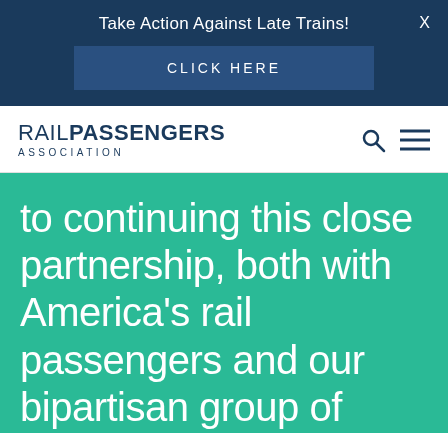Take Action Against Late Trains!
CLICK HERE
[Figure (logo): Rail Passengers Association logo with search and menu icons]
to continuing this close partnership, both with America's rail passengers and our bipartisan group of senators, to ensure a bright future for the Southwest Chief route."